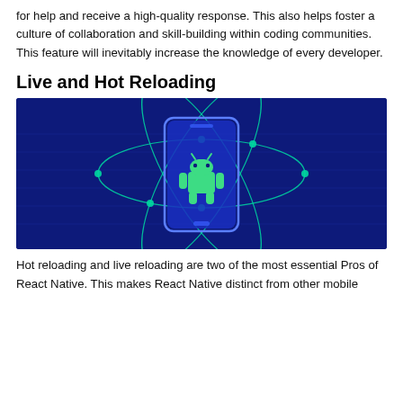for help and receive a high-quality response. This also helps foster a culture of collaboration and skill-building within coding communities. This feature will inevitably increase the knowledge of every developer.
Live and Hot Reloading
[Figure (illustration): Dark blue background illustration showing a smartphone (Android) in the center surrounded by atom-like orbital ellipses with dot nodes at intersections, and the Android robot icon (green) displayed on the phone screen.]
Hot reloading and live reloading are two of the most essential Pros of React Native. This makes React Native distinct from other mobile...